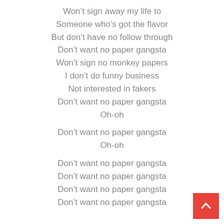Won't sign away my life to
Someone who's got the flavor
But don't have no follow through
Don't want no paper gangsta
Won't sign no monkey papers
I don't do funny business
Not interested in fakers
Don't want no paper gangsta
Oh-oh

Don't want no paper gangsta
Oh-oh

Don't want no paper gangsta
Don't want no paper gangsta
Don't want no paper gangsta
Don't want no paper gangsta